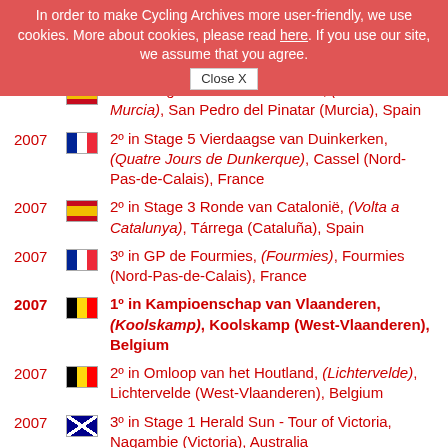In order to make Cycling Archives more user-friendly, we use cookies. More about cookies, please read here. If you use our site, we assume that you agree. Close X
2007 [ES] 2º in Stage 4 Ronde Van Murcia, (Vuelta a Murcia), San Pedro del Pinatar (Murcia), Spain
2007 [FR] 2º in Stage 5 Vierdaagse van Duinkerken, (Quatre Jours de Dunkerque), Cassel (Nord-Pas-de-Calais), France
2007 [ES] 2º in Stage 3 Ronde van Catalonië, (Volta a Catalunya), Tárrega (Cataluña), Spain
2007 [FR] 3º in GP de Fourmies, (Fourmies), Fourmies (Nord-Pas-de-Calais), France
2007 [BE] 1º in Kampioenschap van Vlaanderen, (Koolskamp), Koolskamp (West-Vlaanderen), Belgium
2007 [BE] 2º in Omloop van het Houtland, (Lichtervelde), Lichtervelde (West-Vlaanderen), Belgium
2007 [AU] 3º in Stage 1 Herald Sun - Tour of Victoria, Nagambie (Victoria), Australia
2007 [AU] 1º in South Bank GP, (Brisbane (a)), Brisbane (Queensland), Australia
2008